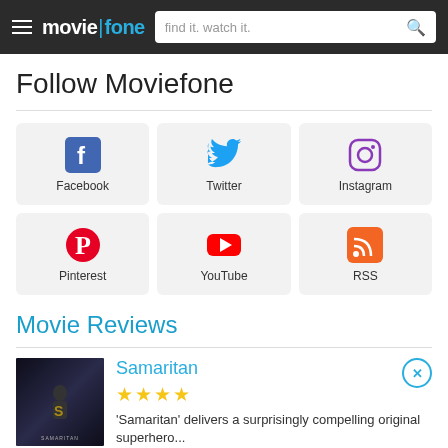moviefone — find it. watch it.
Follow Moviefone
[Figure (infographic): 6 social media buttons in a 3x2 grid: Facebook, Twitter, Instagram, Pinterest, YouTube, RSS]
Movie Reviews
[Figure (photo): Samaritan movie poster showing a figure in a dark urban environment with a large S symbol]
Samaritan
★★★★
'Samaritan' delivers a surprisingly compelling original superhero...